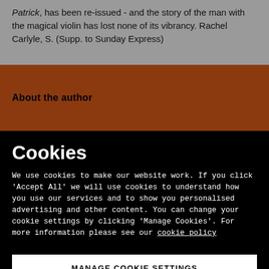Patrick, has been re-issued - and the story of the man with the magical violin has lost none of its vibrancy. Rachel Carlyle, S. (Supp. to Sunday Express)
About the author
Cookies
We use cookies to make our website work. If you click 'Accept All' we will use cookies to understand how you use our services and to show you personalised advertising and other content. You can change your cookie settings by clicking 'Manage Cookies'. For more information please see our cookie policy
MANAGE COOKIE SETTINGS